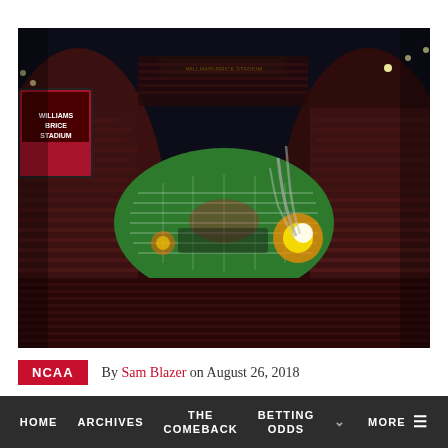[Figure (photo): Aerial night view of a packed college football stadium with fireworks and pyrotechnics on the field, crowd filling all seats]
NCAA   By Sam Blazer on August 26, 2018
The South Carolina Gamecocks are just under a
HOME   ARCHIVES   THE COMEBACK   BETTING ODDS   MORE